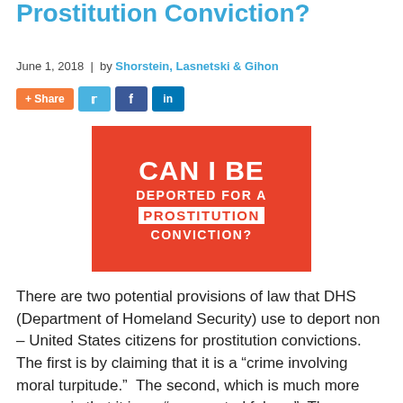Prostitution Conviction?
June 1, 2018 | by Shorstein, Lasnetski & Gihon
[Figure (infographic): Red box with white text reading 'CAN I BE DEPORTED FOR A PROSTITUTION CONVICTION?']
There are two potential provisions of law that DHS (Department of Homeland Security) use to deport non – United States citizens for prostitution convictions.  The first is by claiming that it is a “crime involving moral turpitude.”  The second, which is much more severe, is that it is an “aggravated felony.”  The